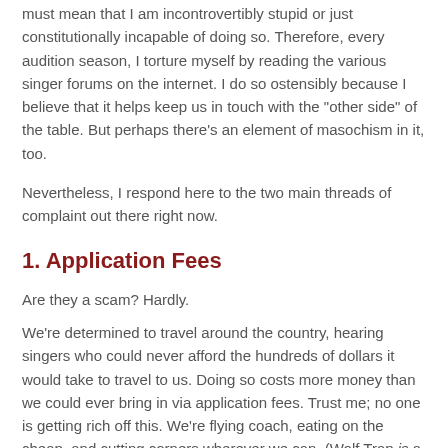must mean that I am incontrovertibly stupid or just constitutionally incapable of doing so. Therefore, every audition season, I torture myself by reading the various singer forums on the internet. I do so ostensibly because I believe that it helps keep us in touch with the "other side" of the table. But perhaps there's an element of masochism in it, too.
Nevertheless, I respond here to the two main threads of complaint out there right now.
1. Application Fees
Are they a scam? Hardly.
We're determined to travel around the country, hearing singers who could never afford the hundreds of dollars it would take to travel to us. Doing so costs more money than we could ever bring in via application fees. Trust me; no one is getting rich off this. We're flying coach, eating on the cheap, and cutting corners wherever we can. (Wolf Trap is a non-profit, after all.)